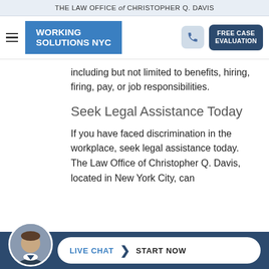THE LAW OFFICE of CHRISTOPHER Q. DAVIS
[Figure (screenshot): Navigation bar with hamburger menu, Working Solutions NYC logo in blue, phone icon button, and FREE CASE EVALUATION dark blue button]
including but not limited to benefits, hiring, firing, pay, or job responsibilities.
Seek Legal Assistance Today
If you have faced discrimination in the workplace, seek legal assistance today. The Law Office of Christopher Q. Davis, located in New York City, can
[Figure (screenshot): Live chat bar at bottom with avatar photo of attorney, pill-shaped button reading LIVE CHAT > START NOW on dark blue background]